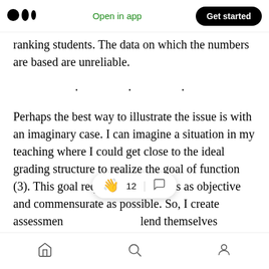Medium app header with logo, Open in app, Get started
ranking students. The data on which the numbers are based are unreliable.
· · ·
Perhaps the best way to illustrate the issue is with an imaginary case. I can imagine a situation in my teaching where I could get close to the ideal grading structure to realize the goal of function (3). This goal requires assessments as objective and commensurate as possible. So, I create assessmen[t that] lend themselves
[Figure (screenshot): Floating badge overlay showing clapping hand emoji, 12 count, divider, and comment bubble icon]
Bottom navigation bar with home, search, and profile icons